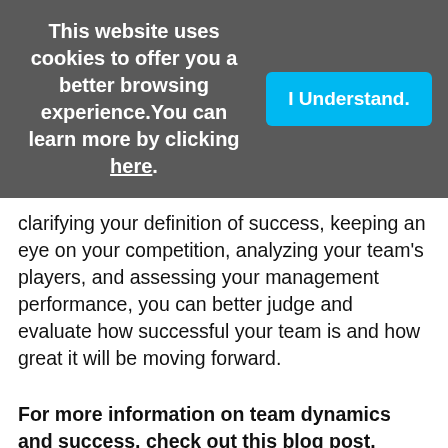This website uses cookies to offer you a better browsing experience. You can learn more by clicking here.
clarifying your definition of success, keeping an eye on your competition, analyzing your team's players, and assessing your management performance, you can better judge and evaluate how successful your team is and how great it will be moving forward.
For more information on team dynamics and success, check out this blog post.
Learn the distinct formula that can be used to understand success and what certain people